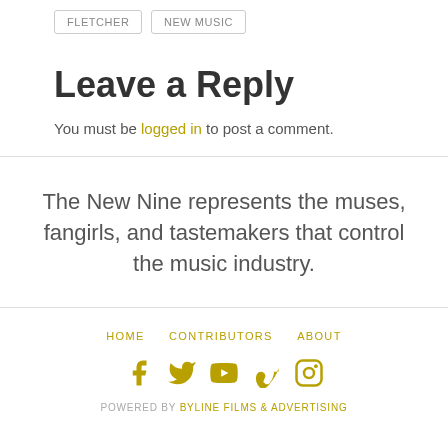FLETCHER
NEW MUSIC
Leave a Reply
You must be logged in to post a comment.
The New Nine represents the muses, fangirls, and tastemakers that control the music industry.
HOME  CONTRIBUTORS  ABOUT
POWERED BY BYLINE FILMS & ADVERTISING